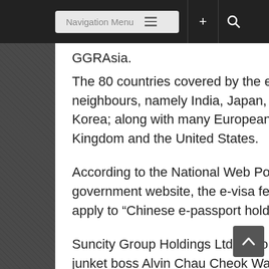Navigation Menu
GGRAsia.
The 80 countries covered by the e-visa scheme include other regional neighbours, namely India, Japan, Myanmar, the Philippines and South Korea; along with many European Union countries and Russia, the United Kingdom and the United States.
According to the National Web Portal on Immigration, a Vietnam-government website, the e-visa fee is US$25, but the service does not apply to “Chinese e-passport holders”.
Suncity Group Holdings Ltd, a Hong Kong-listed firm controlled by Macau junket boss Alvin Chau Cheok Wa, is investing in a new casino resort project called Hoiana on Vietnam’s central coast, due to have a preview period this year. According to some